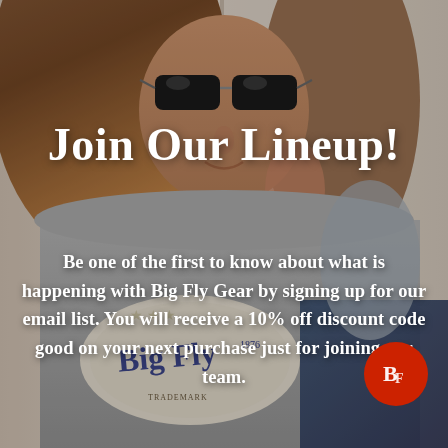[Figure (photo): Woman wearing sunglasses and a Big Fly branded grey sweatshirt, posed leaning against a wall, photo used as full-page background]
Join Our Lineup!
Be one of the first to know about what is happening with Big Fly Gear by signing up for our email list. You will receive a 10% off discount code good on your next purchase just for joining our team.